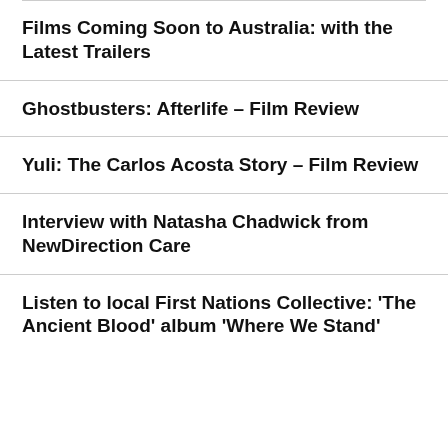Films Coming Soon to Australia: with the Latest Trailers
Ghostbusters: Afterlife – Film Review
Yuli: The Carlos Acosta Story – Film Review
Interview with Natasha Chadwick from NewDirection Care
Listen to local First Nations Collective: 'The Ancient Blood' album 'Where We Stand'